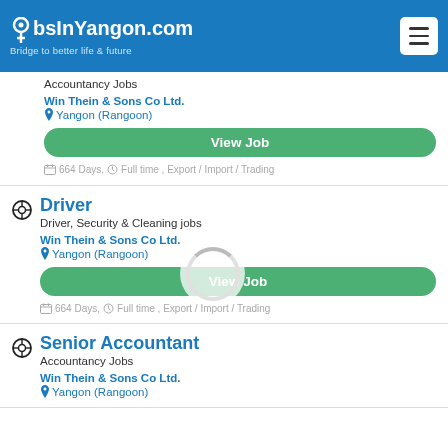JobsInYangon.com — Bridge to better life & future
Accountancy Jobs
Win Thein & Sons Co Ltd.
Yangon (Rangoon)
View Job
664 Days, Full time , Export / Import / Trading
Driver
Driver, Security & Cleaning jobs
Win Thein & Sons Co Ltd.
Yangon (Rangoon)
View Job
664 Days, Full time , Export / Import / Trading
Senior Accountant
Accountancy Jobs
Win Thein & Sons Co Ltd.
Yangon (Rangoon)